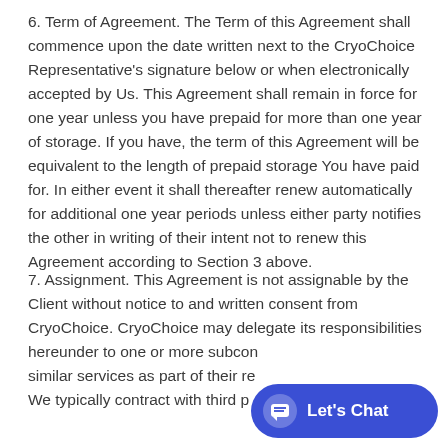6. Term of Agreement. The Term of this Agreement shall commence upon the date written next to the CryoChoice Representative's signature below or when electronically accepted by Us. This Agreement shall remain in force for one year unless you have prepaid for more than one year of storage. If you have, the term of this Agreement will be equivalent to the length of prepaid storage You have paid for. In either event it shall thereafter renew automatically for additional one year periods unless either party notifies the other in writing of their intent not to renew this Agreement according to Section 3 above.
7. Assignment. This Agreement is not assignable by the Client without notice to and written consent from CryoChoice. CryoChoice may delegate its responsibilities hereunder to one or more subcontractors who provide similar services as part of their regular business. We typically contract with third pa...